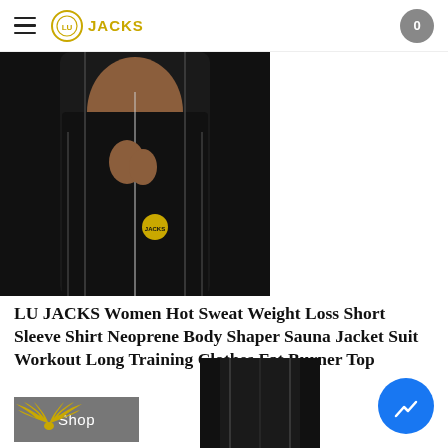LU JACKS - navigation header with hamburger menu and cart button showing 0
[Figure (photo): Woman wearing a black neoprene body shaper short sleeve workout top with gold LU JACKS logo, holding the zipper area]
LU JACKS Women Hot Sweat Weight Loss Short Sleeve Shirt Neoprene Body Shaper Sauna Jacket Suit Workout Long Training Clothes Fat Burner Top
Shop
[Figure (logo): LU JACKS gold wing logo at bottom left]
[Figure (photo): Black neoprene workout leggings/pants product image at bottom center]
[Figure (other): Facebook Messenger chat button, blue circle with white lightning bolt icon, bottom right]